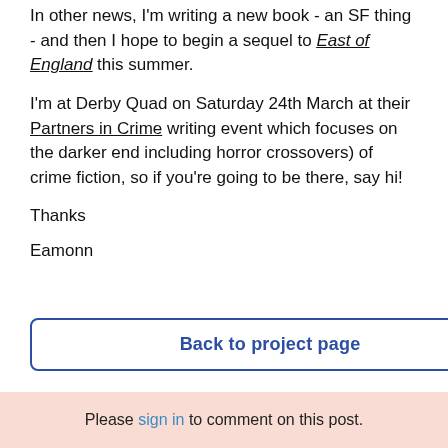In other news, I'm writing a new book - an SF thing - and then I hope to begin a sequel to East of England this summer.
I'm at Derby Quad on Saturday 24th March at their Partners in Crime writing event which focuses on the darker end including horror crossovers) of crime fiction, so if you're going to be there, say hi!
Thanks
Eamonn
Back to project page
Share on social
Please sign in to comment on this post.